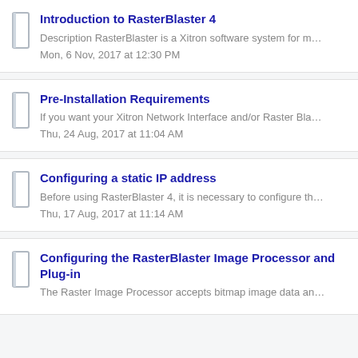Introduction to RasterBlaster 4
Description RasterBlaster is a Xitron software system for m…
Mon, 6 Nov, 2017 at 12:30 PM
Pre-Installation Requirements
If you want your Xitron Network Interface and/or Raster Bla…
Thu, 24 Aug, 2017 at 11:04 AM
Configuring a static IP address
Before using RasterBlaster 4, it is necessary to configure th…
Thu, 17 Aug, 2017 at 11:14 AM
Configuring the RasterBlaster Image Processor and Plug-in
The Raster Image Processor accepts bitmap image data an…